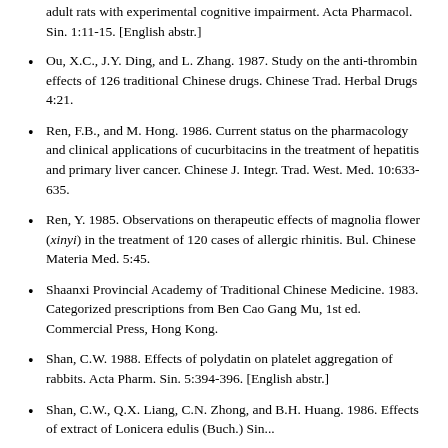adult rats with experimental cognitive impairment. Acta Pharmacol. Sin. 1:11-15. [English abstr.]
Ou, X.C., J.Y. Ding, and L. Zhang. 1987. Study on the anti-thrombin effects of 126 traditional Chinese drugs. Chinese Trad. Herbal Drugs 4:21.
Ren, F.B., and M. Hong. 1986. Current status on the pharmacology and clinical applications of cucurbitacins in the treatment of hepatitis and primary liver cancer. Chinese J. Integr. Trad. West. Med. 10:633-635.
Ren, Y. 1985. Observations on therapeutic effects of magnolia flower (xinyi) in the treatment of 120 cases of allergic rhinitis. Bul. Chinese Materia Med. 5:45.
Shaanxi Provincial Academy of Traditional Chinese Medicine. 1983. Categorized prescriptions from Ben Cao Gang Mu, 1st ed. Commercial Press, Hong Kong.
Shan, C.W. 1988. Effects of polydatin on platelet aggregation of rabbits. Acta Pharm. Sin. 5:394-396. [English abstr.]
Shan, C.W., Q.X. Liang, C.N. Zhong, and B.H. Huang. 1986. Effects of extract of Lonicera edulis (Buch.) Sin...